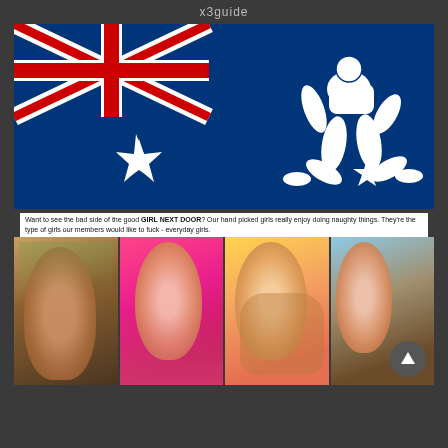x3guide
[Figure (illustration): Australian flag with a silhouette of a nude figure on all fours on the right side, against a dark blue background with Union Jack canton and stars]
Want to see the bad side of the good GIRL NEXT DOOR? Our hand picked girls really enjoy doing naughty things. They're the type of girls our members would like to fuck - everyday girls.
[Figure (photo): Four thumbnail photos of young women in various settings]